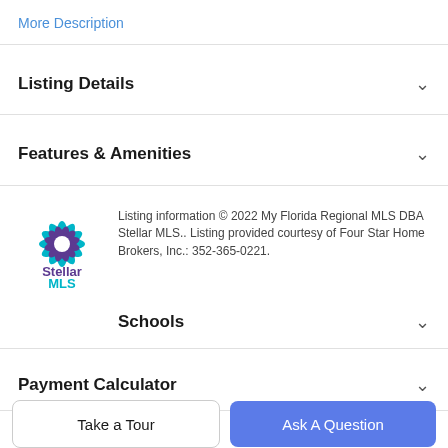More Description
Listing Details
Features & Amenities
[Figure (logo): Stellar MLS logo with teal and purple starburst design]
Listing information © 2022 My Florida Regional MLS DBA Stellar MLS.. Listing provided courtesy of Four Star Home Brokers, Inc.: 352-365-0221.
Schools
Payment Calculator
Contact Agent
Take a Tour
Ask A Question